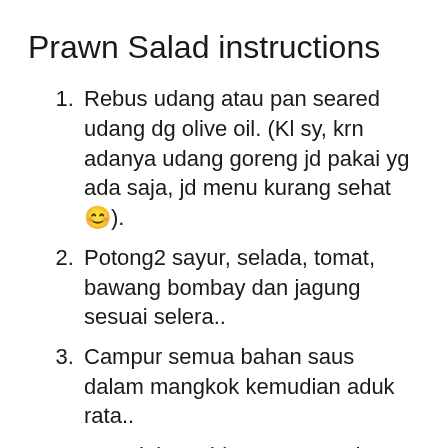Prawn Salad instructions
Rebus udang atau pan seared udang dg olive oil. (Kl sy, krn adanya udang goreng jd pakai yg ada saja, jd menu kurang sehat 😊).
Potong2 sayur, selada, tomat, bawang bombay dan jagung sesuai selera..
Campur semua bahan saus dalam mangkok kemudian aduk rata..
Tata dalam piring, sayuran dan udang kemudian tuang sausnya. Siap disajikan..
Mix all the dressing ingredients together in a large bowl with some black pepper. Layer the salad in a bowl starting with the lettuce, then